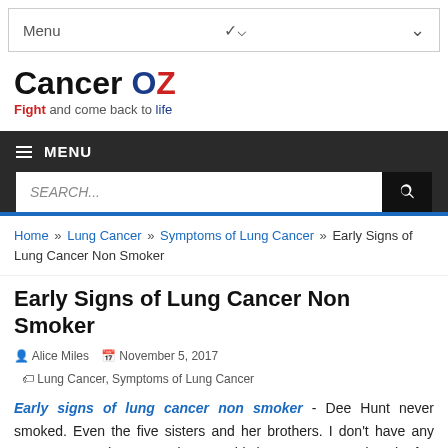Menu
Cancer OZ — Fight and come back to life
MENU
SEARCH...
Home » Lung Cancer » Symptoms of Lung Cancer » Early Signs of Lung Cancer Non Smoker
Early Signs of Lung Cancer Non Smoker
Alice Miles   November 5, 2017   Lung Cancer, Symptoms of Lung Cancer
Early signs of lung cancer non smoker - Dee Hunt never smoked. Even the five sisters and her brothers. I don't have any exposure to radon or to asbestos. This has not prevented each of